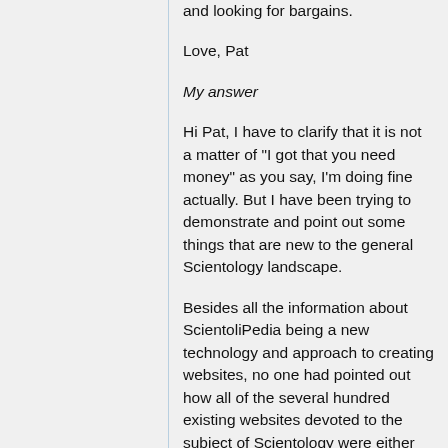and looking for bargains.
Love, Pat
My answer
Hi Pat, I have to clarify that it is not a matter of "I got that you need money" as you say, I'm doing fine actually. But I have been trying to demonstrate and point out some things that are new to the general Scientology landscape.
Besides all the information about ScientoliPedia being a new technology and approach to creating websites, no one had pointed out how all of the several hundred existing websites devoted to the subject of Scientology were either not